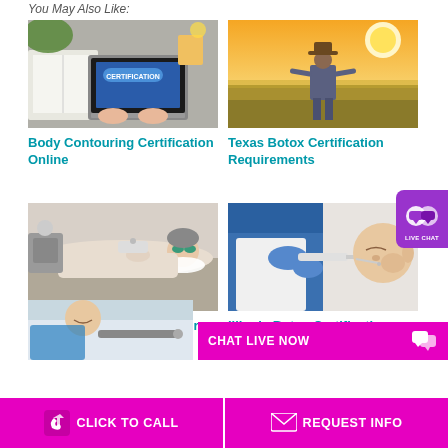You May Also Like:
[Figure (photo): Person typing on laptop with 'CERTIFICATION' on screen, books and items on desk]
Body Contouring Certification Online
[Figure (photo): Person in field at sunset wearing cowboy hat, standing with hands on hips]
Texas Botox Certification Requirements
[Figure (photo): Woman lying on treatment table receiving cosmetic laser facial treatment]
Career as a Cosmetic Laser Technician
[Figure (photo): Medical professional in blue gloves administering botox injection to patient's face]
Illinois Botox Certification Requirements
[Figure (photo): Partial view of person in medical/spa setting]
CHAT LIVE NOW
CLICK TO CALL
REQUEST INFO